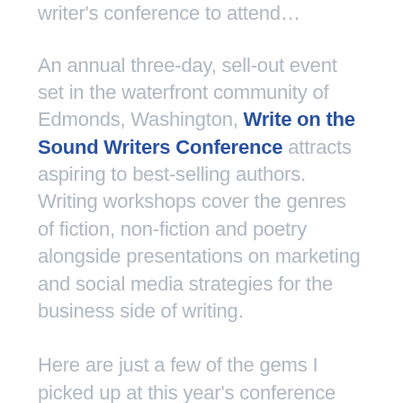writer's conference to attend…
An annual three-day, sell-out event set in the waterfront community of Edmonds, Washington, Write on the Sound Writers Conference attracts aspiring to best-selling authors. Writing workshops cover the genres of fiction, non-fiction and poetry alongside presentations on marketing and social media strategies for the business side of writing.
Here are just a few of the gems I picked up at this year's conference earlier this month to help me hone my writer's craft: